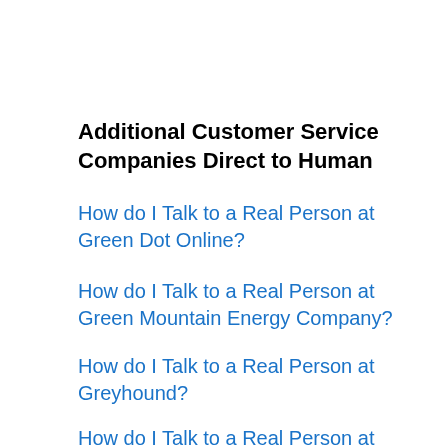Additional Customer Service Companies Direct to Human
How do I Talk to a Real Person at Green Dot Online?
How do I Talk to a Real Person at Green Mountain Energy Company?
How do I Talk to a Real Person at Greyhound?
How do I Talk to a Real Person at GreyStone Power?